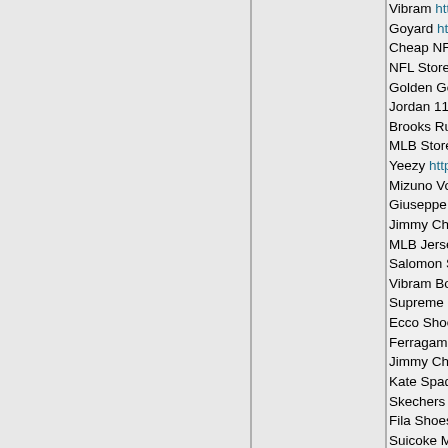Vibram http://www.vibram-shoe...
Goyard http://www.goyardbags...
Cheap NFL Jerseys http://www....
NFL Store http://www.nfljerseys...
Golden Goose Sneakers http://...
Jordan 11 Shoes http://www.ne...
Brooks Running Shoes http://w...
MLB Store http://www.mlb-shop...
Yeezy http://www.yeezy350.us/...
Mizuno Volleyball Shoes http://...
Giuseppe http://www.giuseppe-...
Jimmy Choo Pumps http://www....
MLB Jerseys http://www.mlbjer...
Salomon Shoes http://www.salo...
Vibram Boots http://www.vibran...
Supreme Shirt http://www.supre...
Ecco Shoes For Women http://...
Ferragamo Belt http://www.salv...
Jimmy Choo http://www.jimmy-...
Kate Spade Bags http://www.ka...
Skechers Boots http://www.ske...
Fila Shoes http://www.filashoes...
Suicoke Moto http://www.suicok...
Asics Running Shoes http://ww...
Kate Spade Bags http://www.ka...
Polo Ralph Lauren http://www.r...
NFL Shop http://www.nfljerseys...
Karen Millen Outlet http://www.k...
Red Bottoms http://www.christia...
Asics Gel Nimbus http://www.as...
Louboutin Shoes http://www.ch...
Fila Sneakers http://www.filadis...
Steve Madden Sneakers http://...
Wholesale NBA Jerseys http://w...
Champion Shoes http://www.ch...
Mont Blanc Refills http://www.m...
Yeezy 350 http://www.yeezy950...
Red Bottoms http://www.chris...